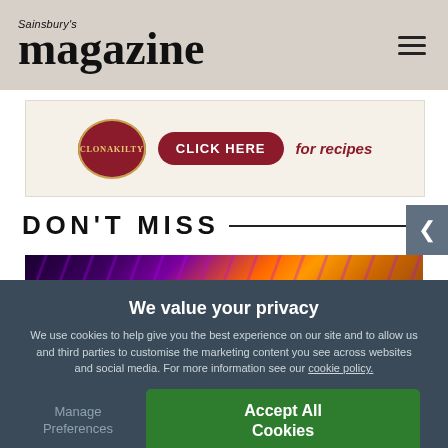Sainsbury's magazine
[Figure (infographic): Clonakilty advertisement banner with logo, 'CLICK HERE' button, and 'for recipes' text]
DON'T MISS
[Figure (photo): Colorful abstract image with purple lightning and orange gradient]
We value your privacy
We use cookies to help give you the best experience on our site and to allow us and third parties to customise the marketing content you see across websites and social media. For more information see our cookie policy.
Manage Preferences
Accept All Cookies